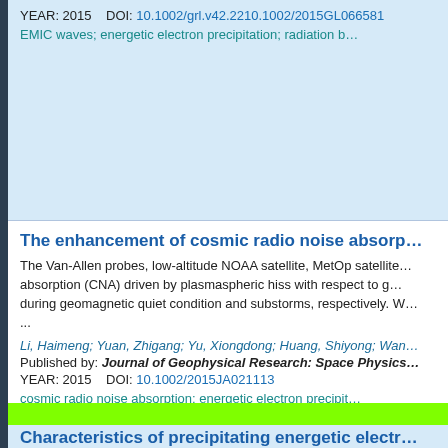YEAR: 2015    DOI: 10.1002/grl.v42.2210.1002/2015GL066581
EMIC waves; energetic electron precipitation; radiation b...
The enhancement of cosmic radio noise absorp...
The Van-Allen probes, low-altitude NOAA satellite, MetOp satellite... absorption (CNA) driven by plasmaspheric hiss with respect to g... during geomagnetic quiet condition and substorms, respectively. W... ...
Li, Haimeng; Yuan, Zhigang; Yu, Xiongdong; Huang, Shiyong; Wan...
Published by: Journal of Geophysical Research: Space Physics...
YEAR: 2015    DOI: 10.1002/2015JA021113
cosmic radio noise absorption; energetic electron precipit...
Characteristics of precipitating energetic electr...